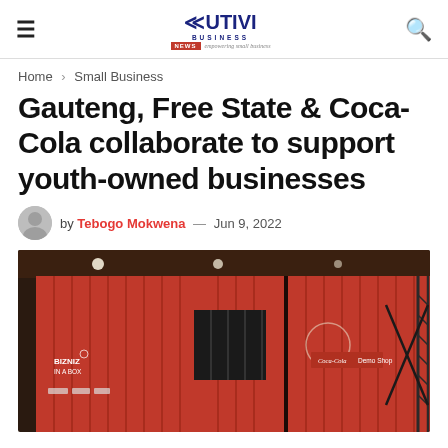Vutivi Business News — empowering small business
Home > Small Business
Gauteng, Free State & Coca-Cola collaborate to support youth-owned businesses
by Tebogo Mokwena — Jun 9, 2022
[Figure (photo): Red Coca-Cola branded shipping containers used as retail demo shops, showing a 'Bizniz in a Box' container and a 'Coca-Cola Demo Shop' container with scaffolding on the right side.]